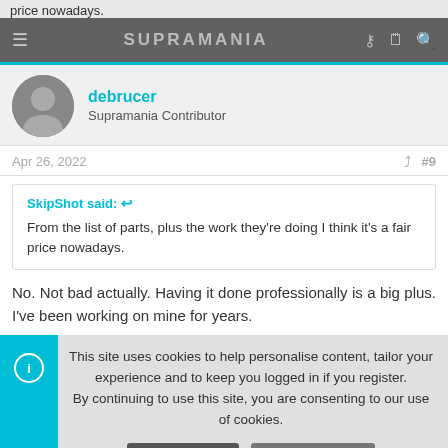price nowadays.
SUPRAMANIA
debrucer
Supramania Contributor
Apr 26, 2022  #9
SkipShot said: ↩
From the list of parts, plus the work they're doing I think it's a fair price nowadays.
No. Not bad actually. Having it done professionally is a big plus. I've been working on mine for years.
This site uses cookies to help personalise content, tailor your experience and to keep you logged in if you register.
By continuing to use this site, you are consenting to our use of cookies.
Accept  Learn more...